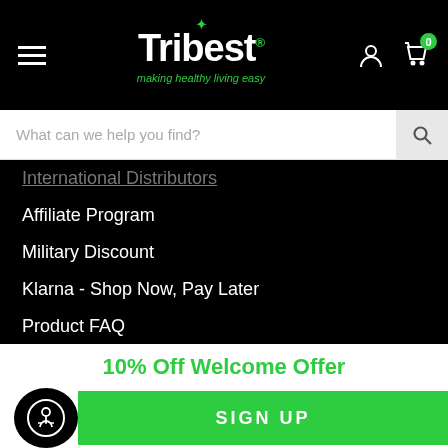[Figure (logo): Tribest logo with 'making healthy living easy' tagline on black header bar with hamburger menu, user icon, and cart icon with badge '0']
What can we help you find?
International Distributors
Affiliate Program
Military Discount
Klarna - Shop Now, Pay Later
Product FAQ
Contact Us
CONTACT US
USA Toll-Free
1 (800) 254-7336
10% Off Welcome Offer
SIGN UP